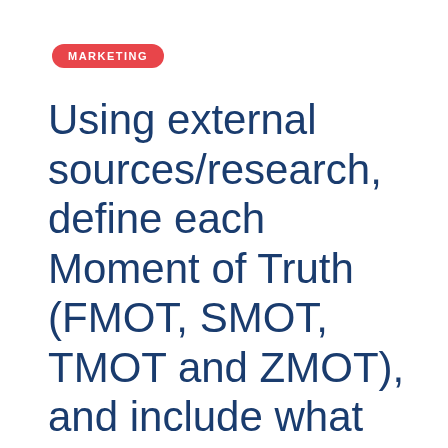MARKETING
Using external sources/research, define each Moment of Truth (FMOT, SMOT, TMOT and ZMOT), and include what occurs in each MOT. Next, describe how and when you experienced each type of MOT, and then reflect and share what you learned